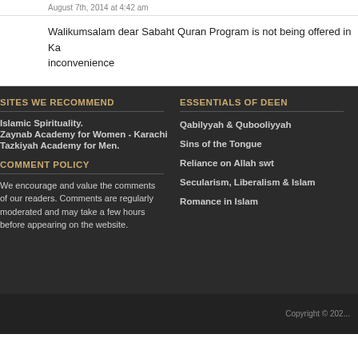August 7th, 2014 at 4:42 am
Walikumsalam dear Sabaht Quran Program is not being offered in Ka... inconvenience
SITES WE RECOMMEND
Islamic Spirituality.
Zaynab Academy for Women - Karachi
Tazkiyah Academy for Men.
COMMENT POLICY
We encourage and value the comments of our readers. Comments are regularly moderated and may take a few hours before appearing on the website.
ESSENTIALS OF DEEN
Qabilyyah & Qubooliyyah
Sins of the Tongue
Reliance on Allah swt
Secularism, Liberalism & Islam
Romance in Islam
Copyright © 202...